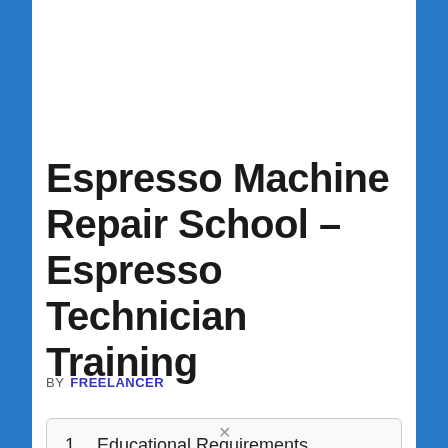Espresso Machine Repair School – Espresso Technician Training
BY FREELANCER
1. Educational Requirements
2. The espresso machine repair training cost